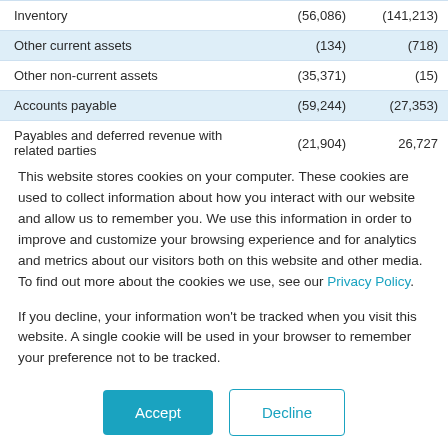|  | Col1 | Col2 |
| --- | --- | --- |
| Inventory | (56,086) | (141,213) |
| Other current assets | (134) | (718) |
| Other non-current assets | (35,371) | (15) |
| Accounts payable | (59,244) | (27,353) |
| Payables and deferred revenue with related parties | (21,904) | 26,727 |
This website stores cookies on your computer. These cookies are used to collect information about how you interact with our website and allow us to remember you. We use this information in order to improve and customize your browsing experience and for analytics and metrics about our visitors both on this website and other media. To find out more about the cookies we use, see our Privacy Policy.
If you decline, your information won't be tracked when you visit this website. A single cookie will be used in your browser to remember your preference not to be tracked.